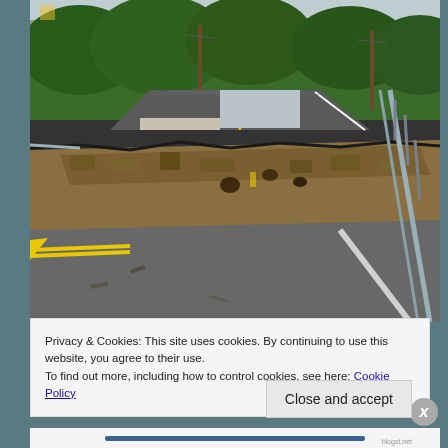[Figure (photo): A road with a large sinkhole or collapsed section, showing the pavement edge dropped away revealing rocky earth below. A guardrail runs along the right side. Trees and utility poles are visible in the background on a cloudy day.]
Privacy & Cookies: This site uses cookies. By continuing to use this website, you agree to their use.
To find out more, including how to control cookies, see here: Cookie Policy
Close and accept